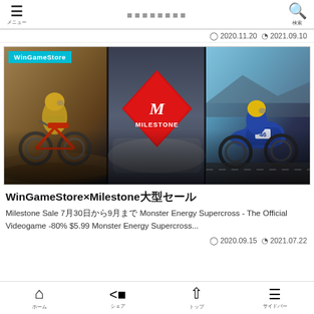≡ メニュー  ＿＿＿＿＿＿＿  🔍 検索
2020.11.20  2021.09.10
[Figure (photo): WinGameStore Milestone sale promotional image showing three game panels: left - motocross dirt bike rider, center - Milestone red diamond logo, right - MotoGP motorcycle rider with number 46]
WinGameStore×Milestone大型セール
Milestone Sale 7月30日から9月まで Monster Energy Supercross - The Official Videogame -80% $5.99 Monster Energy Supercross...
2020.09.15  2021.07.22
ホーム　シェア　トップ　サイドバー